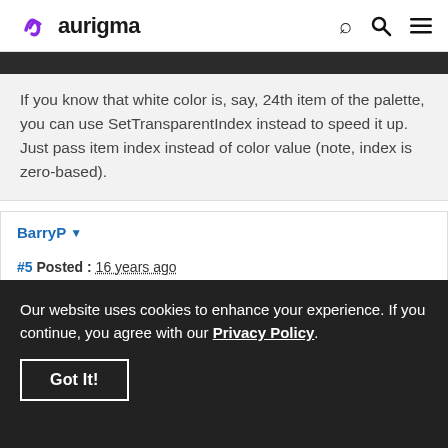aurigma
If you know that white color is, say, 24th item of the palette, you can use SetTransparentIndex instead to speed it up. Just pass item index instead of color value (note, index is zero-based).
BarryP
#5 Posted : 16 years ago
Our website uses cookies to enhance your experience. If you continue, you agree with our Privacy Policy.
Got It!